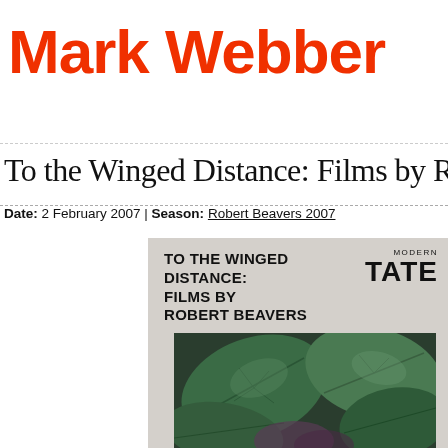Mark Webber
To the Winged Distance: Films by Robe
Date: 2 February 2007 | Season: Robert Beavers 2007
[Figure (illustration): Tate Modern event poster for 'To the Winged Distance: Films by Robert Beavers' showing the title text in bold black on grey background with Tate Modern logo, and a photograph of dark green leaves below.]